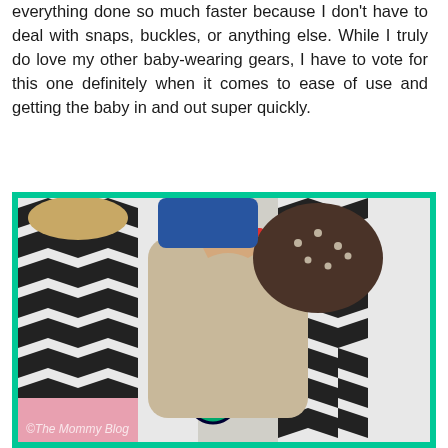everything done so much faster because I don't have to deal with snaps, buckles, or anything else. While I truly do love my other baby-wearing gears, I have to vote for this one definitely when it comes to ease of use and getting the baby in and out super quickly.
[Figure (photo): A person wearing a black and white chevron-pattern outfit using a green ring sling to carry a baby. The baby has a dark patterned hat. The photo has a green border and a watermark reading '© The Mommy Blog'.]